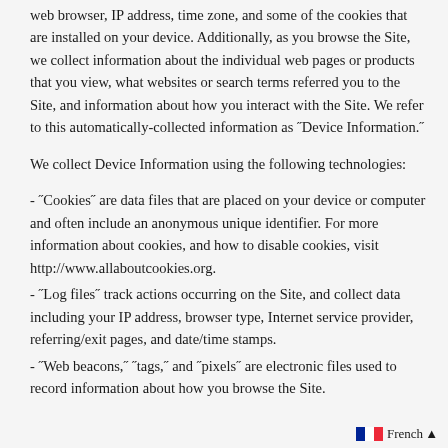web browser, IP address, time zone, and some of the cookies that are installed on your device. Additionally, as you browse the Site, we collect information about the individual web pages or products that you view, what websites or search terms referred you to the Site, and information about how you interact with the Site. We refer to this automatically-collected information as "Device Information."
We collect Device Information using the following technologies:
- "Cookies" are data files that are placed on your device or computer and often include an anonymous unique identifier. For more information about cookies, and how to disable cookies, visit http://www.allaboutcookies.org.
- "Log files" track actions occurring on the Site, and collect data including your IP address, browser type, Internet service provider, referring/exit pages, and date/time stamps.
- "Web beacons," "tags," and "pixels" are electronic files used to record information about how you browse the Site.
French